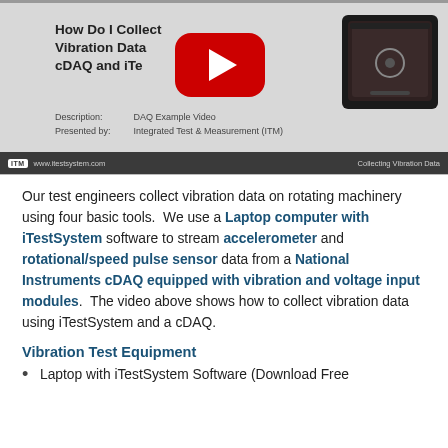[Figure (screenshot): YouTube video thumbnail showing 'How Do I Collect Vibration Data cDAQ and iTestSystem?' with a YouTube play button overlay, a tool case image on the right, and footer with ITM logo, www.itestsystem.com, and 'Collecting Vibration Data'. Description and Presented by fields visible.]
Our test engineers collect vibration data on rotating machinery using four basic tools.  We use a Laptop computer with iTestSystem software to stream accelerometer and rotational/speed pulse sensor data from a National Instruments cDAQ equipped with vibration and voltage input modules.  The video above shows how to collect vibration data using iTestSystem and a cDAQ.
Vibration Test Equipment
Laptop with iTestSystem Software (Download Free